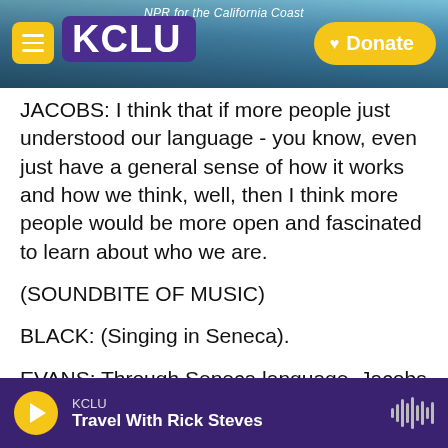NPR for the California Coast — KCLU — Donate
JACOBS: I think that if more people just understood our language - you know, even just have a general sense of how it works and how we think, well, then I think more people would be more open and fascinated to learn about who we are.
(SOUNDBITE OF MUSIC)
BLACK: (Singing in Seneca).
EVANS: Through Seneca language, Jacobs has found continuity with a way of life that was taken away from him and others. For NPR News, I'm Noelle Evans.
KCLU — Travel With Rick Steves